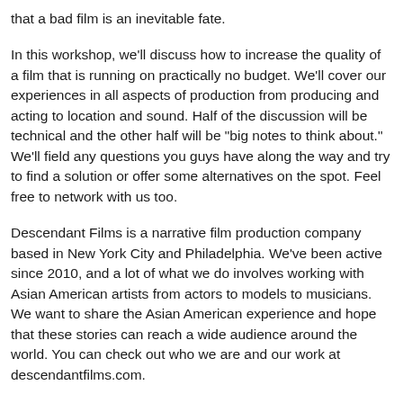that a bad film is an inevitable fate.
In this workshop, we'll discuss how to increase the quality of a film that is running on practically no budget. We'll cover our experiences in all aspects of production from producing and acting to location and sound. Half of the discussion will be technical and the other half will be "big notes to think about." We'll field any questions you guys have along the way and try to find a solution or offer some alternatives on the spot. Feel free to network with us too.
Descendant Films is a narrative film production company based in New York City and Philadelphia. We've been active since 2010, and a lot of what we do involves working with Asian American artists from actors to models to musicians. We want to share the Asian American experience and hope that these stories can reach a wide audience around the world. You can check out who we are and our work at descendantfilms.com.
--
MORE ANSWERS TO FREQUENTLY ASKED QUESTIONS: